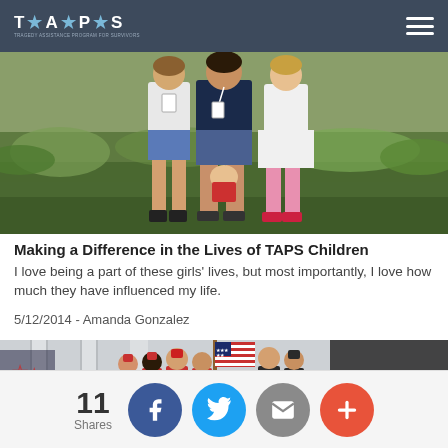T★A★P★S — Tragedy Assistance Program for Survivors
[Figure (photo): Three girls standing outdoors in a grassy/wooded area wearing TAPS event clothing and lanyards]
Making a Difference in the Lives of TAPS Children
I love being a part of these girls' lives, but most importantly, I love how much they have influenced my life.
5/12/2014 - Amanda Gonzalez
[Figure (photo): Group of people in red TAPS shirts standing in front of large columns with an American flag, likely at a monument]
11 Shares